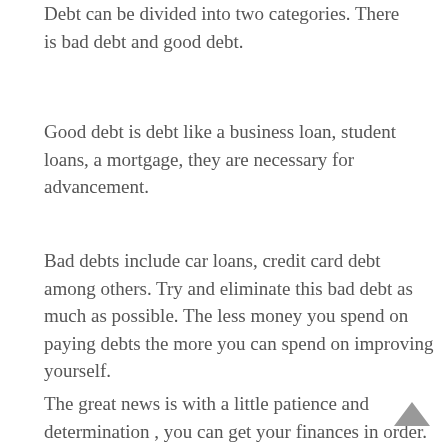Debt can be divided into two categories. There is bad debt and good debt.
Good debt is debt like a business loan, student loans, a mortgage, they are necessary for advancement.
Bad debts include car loans, credit card debt among others. Try and eliminate this bad debt as much as possible. The less money you spend on paying debts the more you can spend on improving yourself.
The great news is with a little patience and determination , you can get your finances in order. Share these tips as widely as possible and help get millennials out of